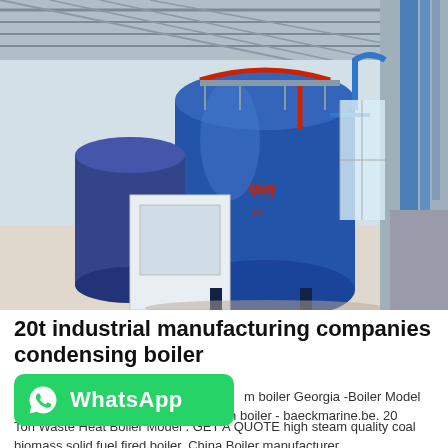[Figure (photo): Industrial boiler room with large blue cylindrical boilers, piping, metal framework, and steel structure roof inside a factory building]
20t industrial manufacturing companies condensing boiler
[Figure (logo): WhatsApp green button with phone icon and WhatsApp text]
m boiler Georgia -Boiler Model Of 20ton Thermal Oil Fired Boil. 20 ton boiler - baeckmarine.be. 20 Ton Waste Heat Boiler Model . GET A QUOTE high steam quality coal biomass solid fuel fired boiler. China Boiler manufacturer,...